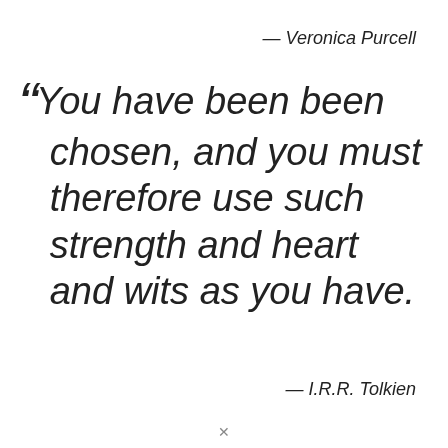— Veronica Purcell
“You have been chosen, and you must therefore use such strength and heart and wits as you have.
— I.R.R. Tolkien